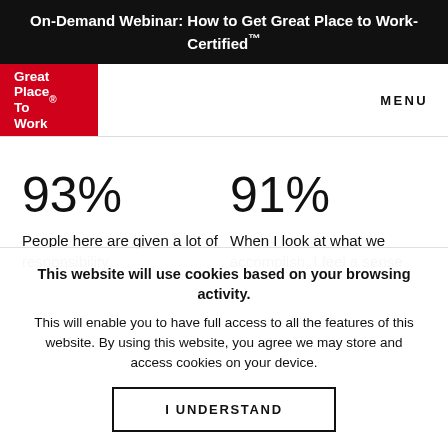On-Demand Webinar: How to Get Great Place to Work-Certified™
[Figure (logo): Great Place To Work red logo box with white text]
MENU
93%
People here are given a lot of responsibility.
91%
When I look at what we accomplish, I feel a sense
This website will use cookies based on your browsing activity.
This will enable you to have full access to all the features of this website. By using this website, you agree we may store and access cookies on your device.
I UNDERSTAND